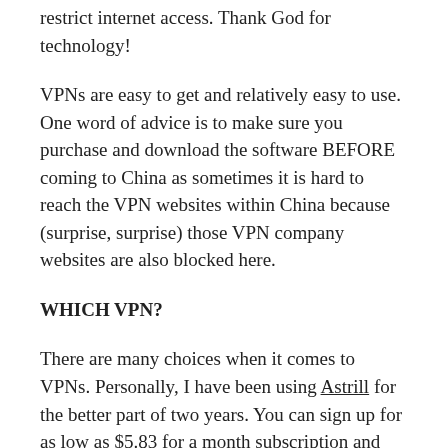restrict internet access. Thank God for technology!
VPNs are easy to get and relatively easy to use. One word of advice is to make sure you purchase and download the software BEFORE coming to China as sometimes it is hard to reach the VPN websites within China because (surprise, surprise) those VPN company websites are also blocked here.
WHICH VPN?
There are many choices when it comes to VPNs. Personally, I have been using Astrill for the better part of two years. You can sign up for as low as $5.83 for a month subscription and can add-on a subscription for your smart phone or Ipad. ONE IMPORTANT THING TO NOTE: At the moment, Astrill is getting hit hard by the Chinese government